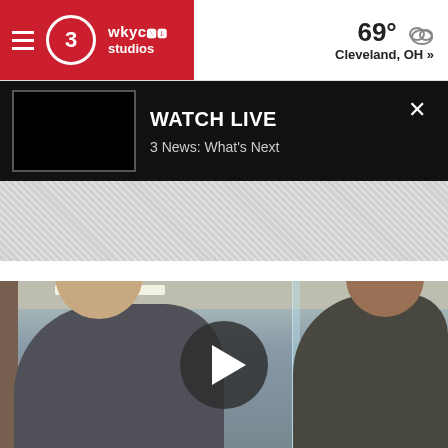WKYC Studios | 69° Cleveland, OH »
WATCH LIVE
3 News: What's Next
[Figure (other): Hatched advertising banner placeholder]
[Figure (photo): Video thumbnail showing a doctor or clinician fitting a headband device on a patient in a clinical setting, with a play button overlay in the center]